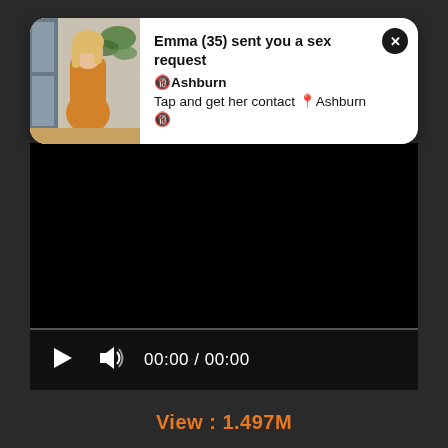[Figure (screenshot): Notification popup with woman's photo thumbnail, showing spam ad message: Emma (35) sent you a sex request, Ashburn, Tap and get her contact Ashburn]
Emma (35) sent you a sex request 🔞Ashburn
Tap and get her contact 📍Ashburn 🔞
[Figure (screenshot): Black video player area with no content loaded, showing progress bar and controls]
00:00 / 00:00
View : 1.497M